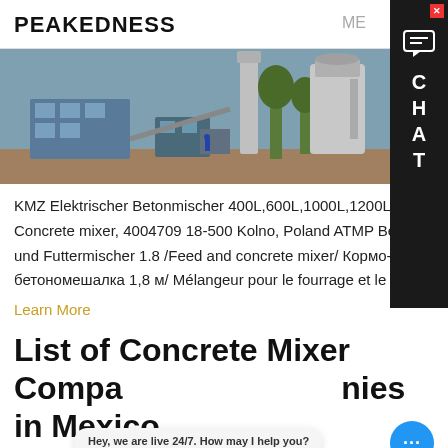PEAKEDNESS
[Figure (photo): Industrial concrete mixing plant with silos, conveyors, and control cabin outdoors]
KMZ Elektrischer Betonmischer 400L,600L,1000L,1200L. Concrete mixer, 4004709 18-500 Kolno, Poland ATMP Beton-und Futtermischer 1.8 /Feed and concrete mixer/ Кормо-бетономешалка 1,8 м/ Mélangeur pour le fourrage et le béton.
Learn More
List of Concrete Mixer Companies in Mexico